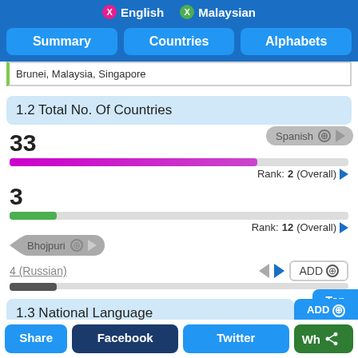X English  X Malaysian
Summary | Countries | Alphabets
Brunei, Malaysia, Singapore
1.2 Total No. Of Countries
33
Rank: 2 (Overall)
3
Rank: 12 (Overall)
4 (Russian)
1.3 National Language
Anguilla, Antigua and Barbuda, Bahamas, Barbados, Belize, Bermuda, Cayman
Share | Facebook | Twitter | Wh